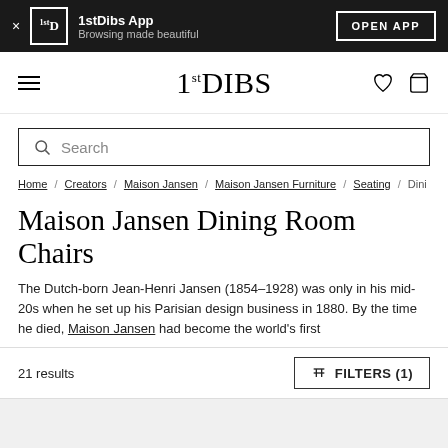1stDibs App — Browsing made beautiful — OPEN APP
[Figure (logo): 1stDIBS logo in navigation bar]
Search
Home / Creators / Maison Jansen / Maison Jansen Furniture / Seating / Dini
Maison Jansen Dining Room Chairs
The Dutch-born Jean-Henri Jansen (1854–1928) was only in his mid-20s when he set up his Parisian design business in 1880. By the time he died, Maison Jansen had become the world's first
21 results
FILTERS (1)